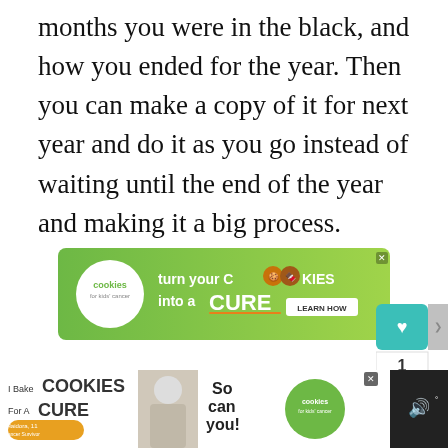months you were in the black, and how you ended for the year. Then you can make a copy of it for next year and do it as you go instead of waiting until the end of the year and making it a big process.
[Figure (other): Advertisement banner for Cookies for Kids Cancer: 'turn your COOKIES into a CURE LEARN HOW' with green background and cookie logo]
[Figure (other): Floating social sidebar with heart/save button showing count of 1 and share button in teal]
[Figure (other): Bottom advertisement bar for 'I Bake COOKIES For A CURE' Cookies for Kids Cancer campaign with photo of child Haidora, 11 Cancer Survivor, and 'So can you!' text]